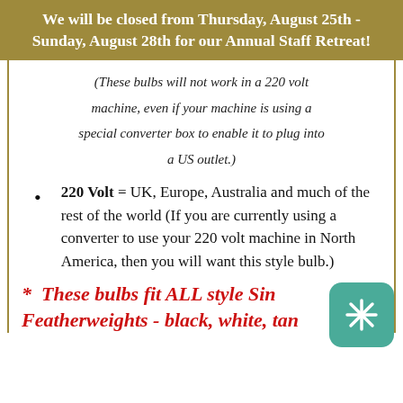We will be closed from Thursday, August 25th - Sunday, August 28th for our Annual Staff Retreat!
(These bulbs will not work in a 220 volt machine, even if your machine is using a special converter box to enable it to plug into a US outlet.)
220 Volt = UK, Europe, Australia and much of the rest of the world (If you are currently using a converter to use your 220 volt machine in North America, then you will want this style bulb.)
*  These bulbs fit ALL style Sin Featherweights - black, white, tan